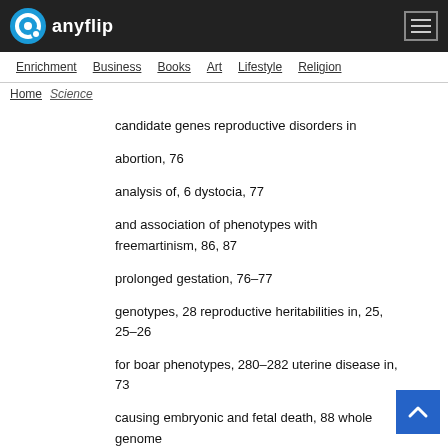anyflip
Enrichment  Business  Books  Art  Lifestyle  Religion
candidate genes reproductive disorders in
abortion, 76
analysis of, 6 dystocia, 77
and association of phenotypes with freemartinism, 86, 87
prolonged gestation, 76–77
genotypes, 28 reproductive heritabilities in, 25, 25–26
for boar phenotypes, 280–282 uterine disease in, 73
causing embryonic and fetal death, 88 whole genome
sequence in, 9, 9
choice of, 7–8 cattle feeding, biomathematical models for, 428
in CL of farm species, 233 causality, confirmation of, 402, 402
cryptorchidism associated with, 84, 84–85 cDNA libraries,
16, 16, 214–215
DigiCGA for, 90 cDNA microarray technologies, 263